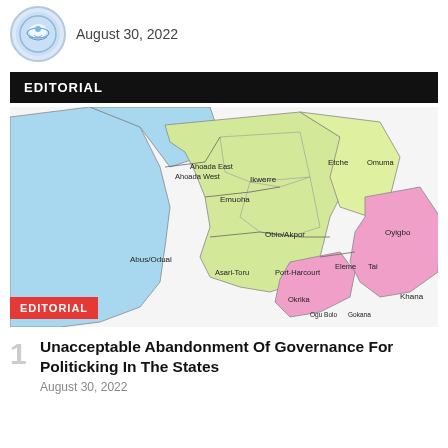[Figure (logo): Circular organization logo with emblem]
August 30, 2022
EDITORIAL
[Figure (map): Map of Rivers State, Nigeria showing local government areas including Ahoada East, Ahoada West, Ikwerre, Emuoha, Etche, Omuma, Obio/Akpor, Abus/Odual, Asari-Toru, Port-Harcourt, Eleme, Tai, Oyigbo, Okrika, Ogu Bolo, Gokana, Khana in different colors (blue, yellow-green, pink)]
EDITORIAL
Unacceptable Abandonment Of Governance For Politicking In The States
August 30, 2022